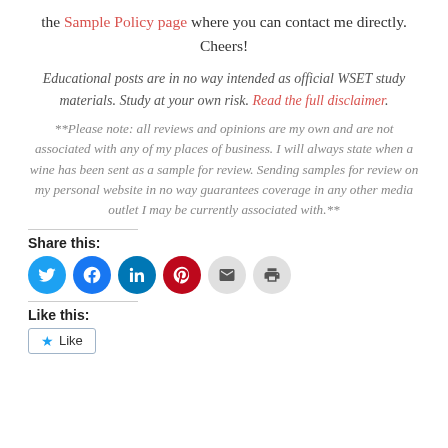the Sample Policy page where you can contact me directly. Cheers!
Educational posts are in no way intended as official WSET study materials. Study at your own risk. Read the full disclaimer.
**Please note: all reviews and opinions are my own and are not associated with any of my places of business. I will always state when a wine has been sent as a sample for review. Sending samples for review on my personal website in no way guarantees coverage in any other media outlet I may be currently associated with.**
Share this:
[Figure (infographic): Social share buttons: Twitter (blue circle), Facebook (blue circle), LinkedIn (dark blue circle), Pinterest (red circle), Email (grey circle), Print (grey circle)]
Like this:
[Figure (infographic): Like button with blue star icon and 'Like' text, with a rectangular border]